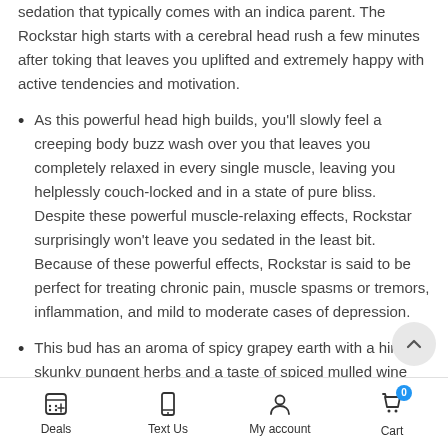sedation that typically comes with an indica parent. The Rockstar high starts with a cerebral head rush a few minutes after toking that leaves you uplifted and extremely happy with active tendencies and motivation.
As this powerful head high builds, you'll slowly feel a creeping body buzz wash over you that leaves you completely relaxed in every single muscle, leaving you helplessly couch-locked and in a state of pure bliss. Despite these powerful muscle-relaxing effects, Rockstar surprisingly won't leave you sedated in the least bit. Because of these powerful effects, Rockstar is said to be perfect for treating chronic pain, muscle spasms or tremors, inflammation, and mild to moderate cases of depression.
This bud has an aroma of spicy grapey earth with a hint of skunky pungent herbs and a taste of spiced mulled wine with a pungent slightly skunky exhale. Rockstar buds have medium-sized dense and lumpy dark olive green spade-shaped nugs with rich pu... undertones, fiery orange hairs, and frosty trichome covered
Deals | Text Us | My account | Cart